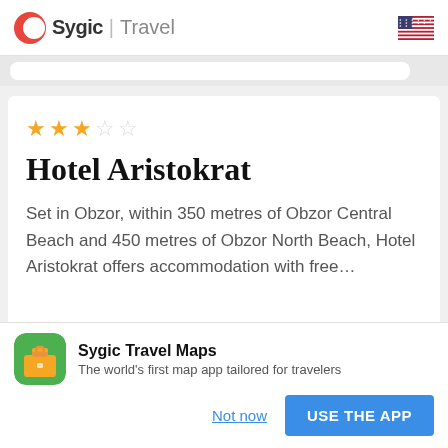Sygic | Travel
Hotel Aristokrat
Set in Obzor, within 350 metres of Obzor Central Beach and 450 metres of Obzor North Beach, Hotel Aristokrat offers accommodation with free...
Sygic Travel Maps
The world's first map app tailored for travelers
Not now
USE THE APP